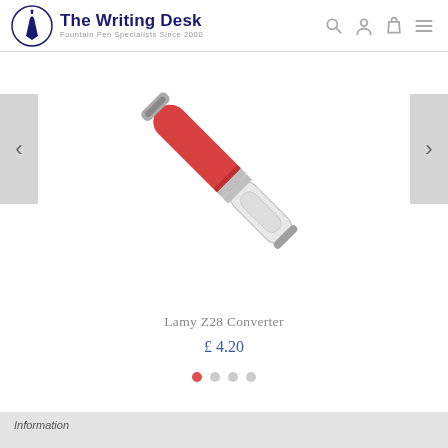[Figure (logo): The Writing Desk logo with fountain pen icon and text 'The Writing Desk Fountain Pen Specialists Since 2000']
[Figure (photo): Lamy Z28 Converter fountain pen accessory, shown at an angle with red and silver body on white background]
Lamy Z28 Converter
£ 4.20
Information